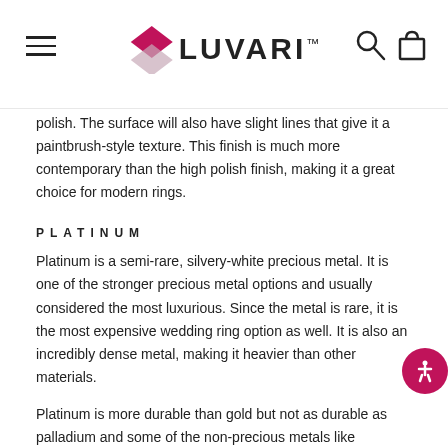LUVARI
polish. The surface will also have slight lines that give it a paintbrush-style texture. This finish is much more contemporary than the high polish finish, making it a great choice for modern rings.
PLATINUM
Platinum is a semi-rare, silvery-white precious metal. It is one of the stronger precious metal options and usually considered the most luxurious. Since the metal is rare, it is the most expensive wedding ring option as well. It is also an incredibly dense metal, making it heavier than other materials.
Platinum is more durable than gold but not as durable as palladium and some of the non-precious metals like tungsten and titanium. However, if it does get scratched, the metal is simply displaced rather than lost, meaning the ring will never lose density.